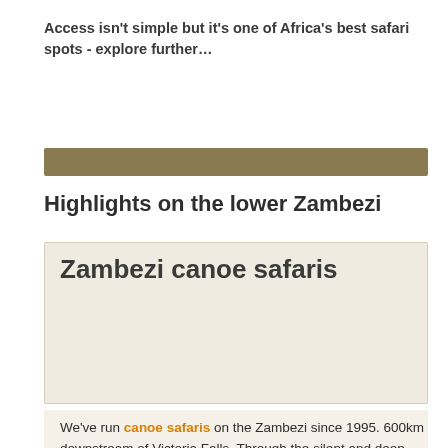Access isn't simple but it's one of Africa's best safari spots - explore further…
Highlights on the lower Zambezi
Zambezi canoe safaris
We've run canoe safaris on the Zambezi since 1995. 600km downstream of Victoria Falls. Through the silent and deep gorges below Kariba. Through the languid but wild mainstream past Mana Pools. Still further on to the largest, most remote, least populated and undeveloped safari areas - through